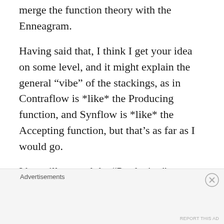merge the function theory with the Enneagram.
Having said that, I think I get your idea on some level, and it might explain the general “vibe” of the stackings, as in Contraflow is *like* the Producing function, and Synflow is *like* the Accepting function, but that’s as far as I would go.
I have illustrated the “Producing” nature of Contraflow, and the “Accepting” nature of
Advertisements